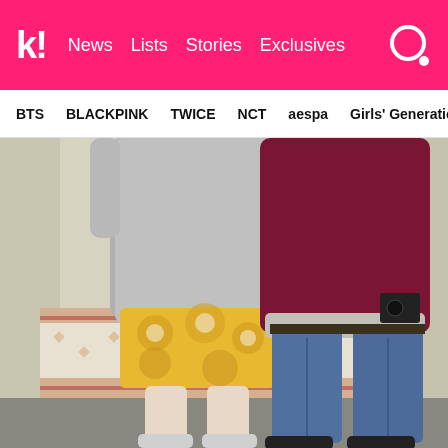k! News | Lists | Stories | Exclusives
BTS | BLACKPINK | TWICE | NCT | aespa | Girls' Generation
[Figure (photo): Two people standing side by side facing away from the camera. The person on the left wears a grey sweatshirt and yellow floral patterned skirt with grey sneakers. The person on the right wears a dark maroon/burgundy sweatshirt with blue jeans and dark sneakers. There is a table with a decorative cloth behind them.]